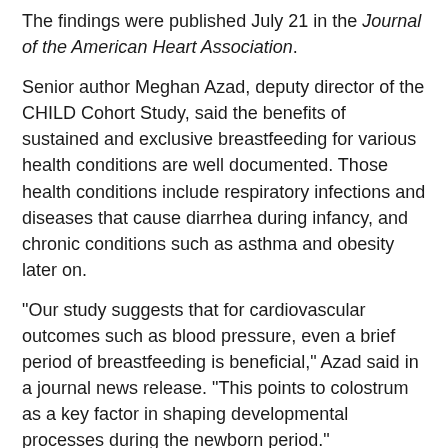The findings were published July 21 in the Journal of the American Heart Association.
Senior author Meghan Azad, deputy director of the CHILD Cohort Study, said the benefits of sustained and exclusive breastfeeding for various health conditions are well documented. Those health conditions include respiratory infections and diseases that cause diarrhea during infancy, and chronic conditions such as asthma and obesity later on.
"Our study suggests that for cardiovascular outcomes such as blood pressure, even a brief period of breastfeeding is beneficial," Azad said in a journal news release. "This points to colostrum as a key factor in shaping developmental processes during the newborn period."
She said breastfeeding should be strongly supported.
"It is also important to understand that breastfeeding